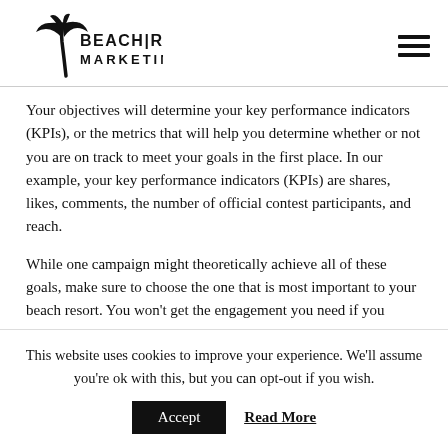[Figure (logo): Beach Resort Marketing logo with palm tree icon and stylized text]
Your objectives will determine your key performance indicators (KPIs), or the metrics that will help you determine whether or not you are on track to meet your goals in the first place. In our example, your key performance indicators (KPIs) are shares, likes, comments, the number of official contest participants, and reach.
While one campaign might theoretically achieve all of these goals, make sure to choose the one that is most important to your beach resort. You won't get the engagement you need if you
This website uses cookies to improve your experience. We'll assume you're ok with this, but you can opt-out if you wish.
Accept
Read More